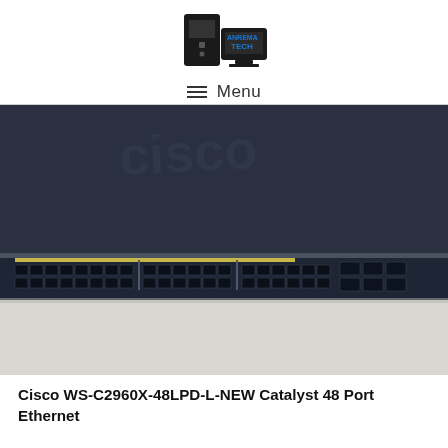ANREMA TECH (logo + Menu)
[Figure (photo): Close-up photo of a Cisco Catalyst 48 Port Ethernet network switch showing rows of RJ45 ports on the front panel, with the Cisco logo embossed on the top casing.]
Cisco WS-C2960X-48LPD-L-NEW Catalyst 48 Port Ethernet